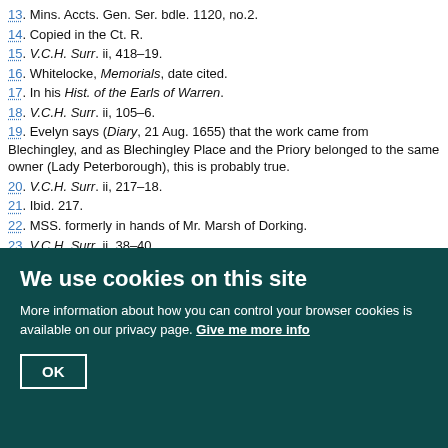13. Mins. Accts. Gen. Ser. bdle. 1120, no.2.
14. Copied in the Ct. R.
15. V.C.H. Surr. ii, 418–19.
16. Whitelocke, Memorials, date cited.
17. In his Hist. of the Earls of Warren.
18. V.C.H. Surr. ii, 105–6.
19. Evelyn says (Diary, 21 Aug. 1655) that the work came from Blechingley, and as Blechingley Place and the Priory belonged to the same owner (Lady Peterborough), this is probably true.
20. V.C.H. Surr. ii, 217–18.
21. Ibid. 217.
22. MSS. formerly in hands of Mr. Marsh of Dorking.
23. V.C.H. Surr. ii, 38–40.
24. Surr. Arch. Coll. xiv (2).
25. MS. Farnham Castle.
26. Waddington, Surr. Cong. Hist. 281.
27. V.C.H. Surr. i, 418, 423.
28. The charter has been printed.
29. A plan of the old borough and parish appears in the Boundary Rep. of the Commission on Parliamentary Representation, Parl. Papers, 1831–2, xl, 35. The area of the borough was only 65 acres, while that of the parish was 5,415 acres.
We use cookies on this site
More information about how you can control your browser cookies is available on our privacy page. Give me more info
OK